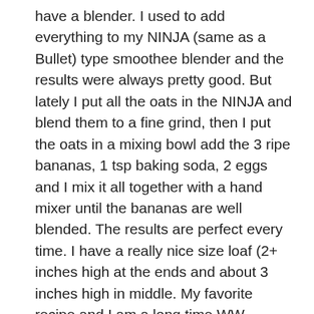have a blender. I used to add everything to my NINJA (same as a Bullet) type smoothee blender and the results were always pretty good. But lately I put all the oats in the NINJA and blend them to a fine grind, then I put the oats in a mixing bowl add the 3 ripe bananas, 1 tsp baking soda, 2 eggs and I mix it all together with a hand mixer until the bananas are well blended. The results are perfect every time. I have a really nice size loaf (2+ inches high at the ends and about 3 inches high in middle. My favorite recipe and I am a long time WW member (weight watchers) so the plan I am following has this at 0
pts per serving. Win, win.